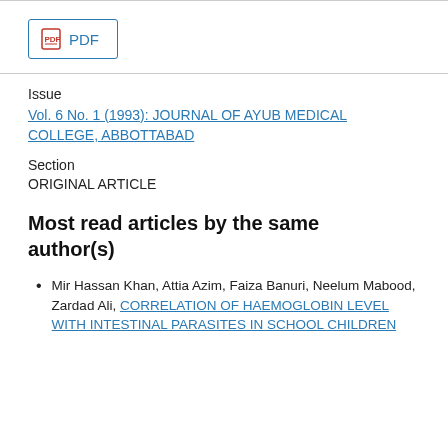[Figure (other): PDF download button with red PDF icon inside a blue border rectangle]
Issue
Vol. 6 No. 1 (1993): JOURNAL OF AYUB MEDICAL COLLEGE, ABBOTTABAD
Section
ORIGINAL ARTICLE
Most read articles by the same author(s)
Mir Hassan Khan, Attia Azim, Faiza Banuri, Neelum Mabood, Zardad Ali, CORRELATION OF HAEMOGLOBIN LEVEL WITH INTESTINAL PARASITES IN SCHOOL CHILDREN